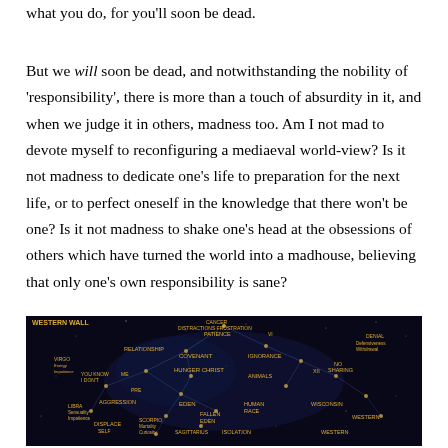what you do, for you'll soon be dead.
But we will soon be dead, and notwithstanding the nobility of 'responsibility', there is more than a touch of absurdity in it, and when we judge it in others, madness too. Am I not mad to devote myself to reconfiguring a mediaeval world-view? Is it not madness to dedicate one's life to preparation for the next life, or to perfect oneself in the knowledge that there won't be one? Is it not madness to shake one's head at the obsessions of others which have turned the world into a madhouse, believing that only one's own responsibility is sane?
[Figure (map): A dark star map or network diagram labeled 'WESTERN WALL' with various nodes and labels in yellow/orange text on a dark blue/black background, showing interconnected points representing concepts like 'COVENANT', 'HANGER CHRIST', 'IGNORANCE', 'AGGRESSION', 'ISOLATION', and others.]